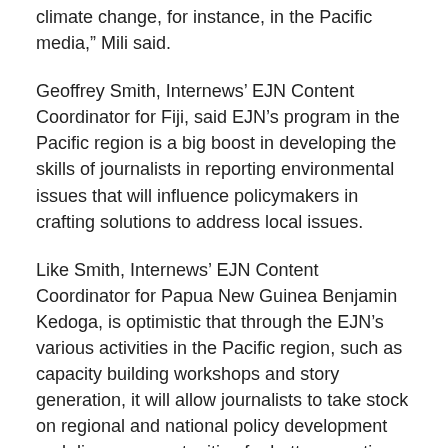climate change, for instance, in the Pacific media,” Mili said.
Geoffrey Smith, Internews’ EJN Content Coordinator for Fiji, said EJN’s program in the Pacific region is a big boost in developing the skills of journalists in reporting environmental issues that will influence policymakers in crafting solutions to address local issues.
Like Smith, Internews’ EJN Content Coordinator for Papua New Guinea Benjamin Kedoga, is optimistic that through the EJN’s various activities in the Pacific region, such as capacity building workshops and story generation, it will allow journalists to take stock on regional and national policy development and discuss opportunities for better reporting on the environment.